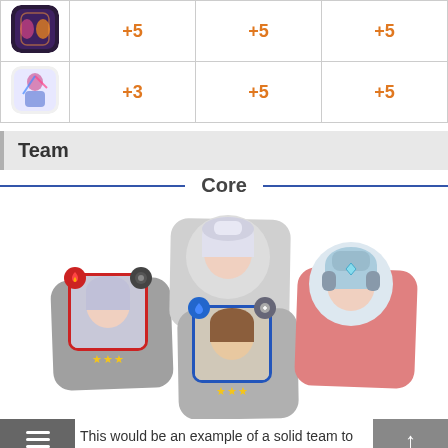| Icon | Col1 | Col2 | Col3 |
| --- | --- | --- | --- |
| [game icon 1] | +5 | +5 | +5 |
| [game icon 2] | +3 | +5 | +5 |
Team
Core
[Figure (illustration): Team composition display showing three anime-style character portraits arranged on grey/red diamond-shaped slots. Left character has fire element badge and 3 stars. Center-bottom character has water element badge and 3 stars. Right character is displayed on a red slot with no badge visible. Above center is another character portrait on a white slot.]
This would be an example of a solid team to run Designer